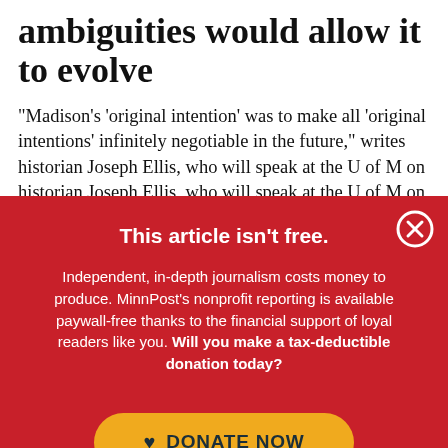The Constitution's multiple ambiguities would allow it to evolve
“Madison’s ‘original intention’ was to make all ‘original intentions’ infinitely negotiable in the future,” writes historian Joseph Ellis, who will speak at the U of M on
This article isn't free.
Independent, in-depth journalism costs money to produce. MinnPost’s nonprofit reporting is available paywall-free thanks to the financial support of loyal readers like you. Will you make a tax-deductible donation today?
DONATE NOW